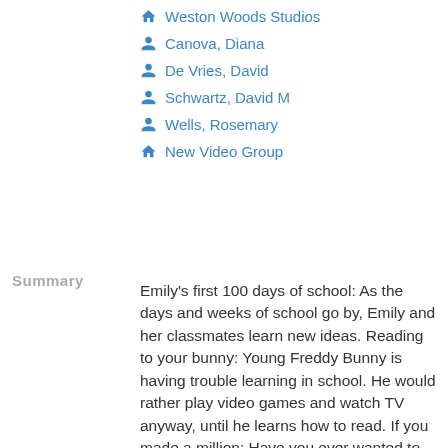Weston Woods Studios
Canova, Diana
De Vries, David
Schwartz, David M
Wells, Rosemary
New Video Group
Summary
Emily’s first 100 days of school: As the days and weeks of school go by, Emily and her classmates learn new ideas. Reading to your bunny: Young Freddy Bunny is having trouble learning in school. He would rather play video games and watch TV anyway, until he learns how to read. If you made a million: Have you ever wanted to make a million dollars? Marvelosissimo the Mathematical Magician is an expert guide about the various forms of money.